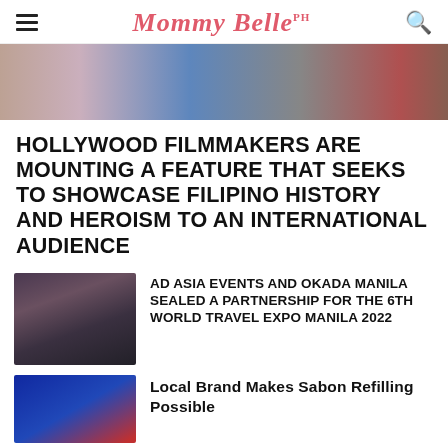Mommy Belle PH
[Figure (photo): Cropped photo of people at an event, showing torsos and partial faces]
HOLLYWOOD FILMMAKERS ARE MOUNTING A FEATURE THAT SEEKS TO SHOWCASE FILIPINO HISTORY AND HEROISM TO AN INTERNATIONAL AUDIENCE
[Figure (photo): Thumbnail photo of people in formal attire at a signing/partnership event]
AD ASIA EVENTS AND OKADA MANILA SEALED A PARTNERSHIP FOR THE 6TH WORLD TRAVEL EXPO MANILA 2022
[Figure (photo): Thumbnail photo with blue lighting at an event]
Local Brand Makes Sabon Refilling Possible